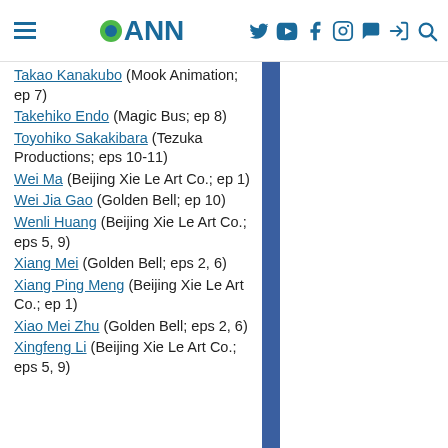ANN (Anime News Network) website header with navigation icons
Takao Kanakubo (Mook Animation; ep 7)
Takehiko Endo (Magic Bus; ep 8)
Toyohiko Sakakibara (Tezuka Productions; eps 10-11)
Wei Ma (Beijing Xie Le Art Co.; ep 1)
Wei Jia Gao (Golden Bell; ep 10)
Wenli Huang (Beijing Xie Le Art Co.; eps 5, 9)
Xiang Mei (Golden Bell; eps 2, 6)
Xiang Ping Meng (Beijing Xie Le Art Co.; ep 1)
Xiao Mei Zhu (Golden Bell; eps 2, 6)
Xingfeng Li (Beijing Xie Le Art Co.; eps 5, 9)